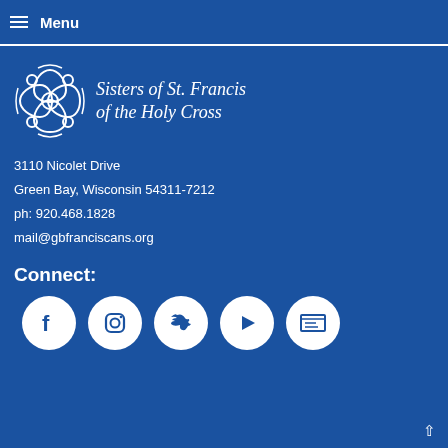Menu
[Figure (logo): Sisters of St. Francis of the Holy Cross logo with decorative cross emblem]
3110 Nicolet Drive
Green Bay, Wisconsin 54311-7212
ph: 920.468.1828
mail@gbfranciscans.org
Connect:
[Figure (infographic): Social media icons: Facebook, Instagram, Twitter, YouTube/Play, Newsletter]